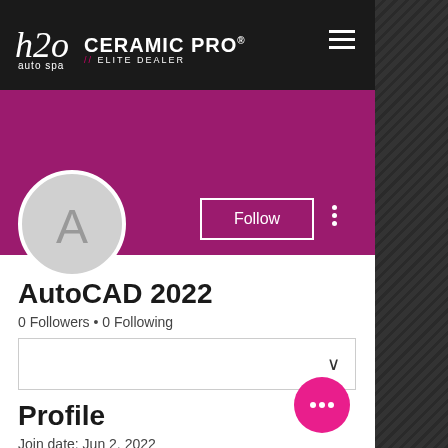[Figure (logo): h2o auto spa logo with Ceramic Pro Elite Dealer branding in black navigation bar]
[Figure (illustration): Pink/magenta profile banner background with circular avatar placeholder showing letter A, Follow button, and three-dot menu]
AutoCAD 2022
0 Followers • 0 Following
Profile
Join date: Jun 2, 2022